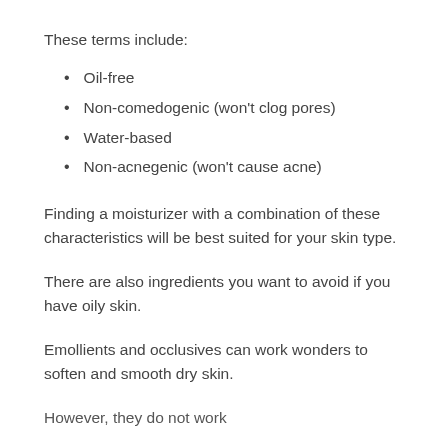These terms include:
Oil-free
Non-comedogenic (won't clog pores)
Water-based
Non-acnegenic (won't cause acne)
Finding a moisturizer with a combination of these characteristics will be best suited for your skin type.
There are also ingredients you want to avoid if you have oily skin.
Emollients and occlusives can work wonders to soften and smooth dry skin.
However, they do not work…